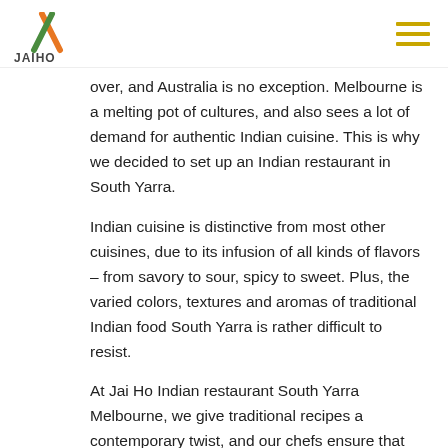Jai Ho Indian Restaurant
[Figure (logo): Jai Ho logo with orange and green diagonal stripe and text JAIHO]
over, and Australia is no exception. Melbourne is a melting pot of cultures, and also sees a lot of demand for authentic Indian cuisine. This is why we decided to set up an Indian restaurant in South Yarra.
Indian cuisine is distinctive from most other cuisines, due to its infusion of all kinds of flavors – from savory to sour, spicy to sweet. Plus, the varied colors, textures and aromas of traditional Indian food South Yarra is rather difficult to resist.
At Jai Ho Indian restaurant South Yarra Melbourne, we give traditional recipes a contemporary twist, and our chefs ensure that the food served is customized as per the palate of our guests. So do not hesitate to try out any of the dishes on our menu at South Yarra Indian restaurant. After all, the food of a new country is the best way to experience the [continues]